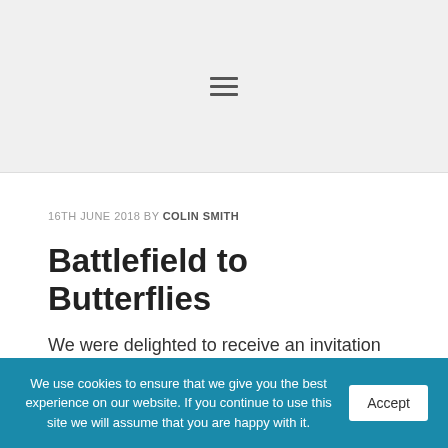[navigation menu icon]
16TH JUNE 2018 BY COLIN SMITH
Battlefield to Butterflies
We were delighted to receive an invitation from the Royal Parks Guild for our apprentice gardeners to take part in the creation of this
We use cookies to ensure that we give you the best experience on our website. If you continue to use this site we will assume that you are happy with it.